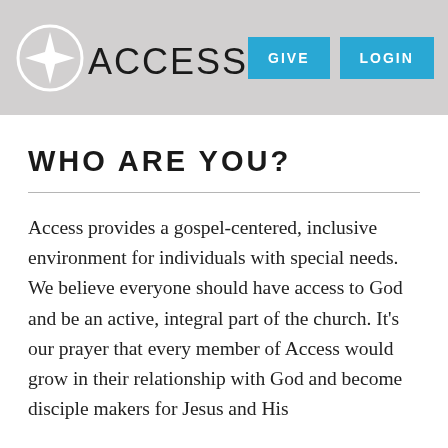[Figure (logo): Access ministry logo with compass star icon inside a circle and the word ACCESS in large sans-serif text, alongside GIVE and LOGIN blue buttons and a hamburger menu]
WHO ARE YOU?
Access provides a gospel-centered, inclusive environment for individuals with special needs. We believe everyone should have access to God and be an active, integral part of the church. It’s our prayer that every member of Access would grow in their relationship with God and become disciple makers for Jesus and His…